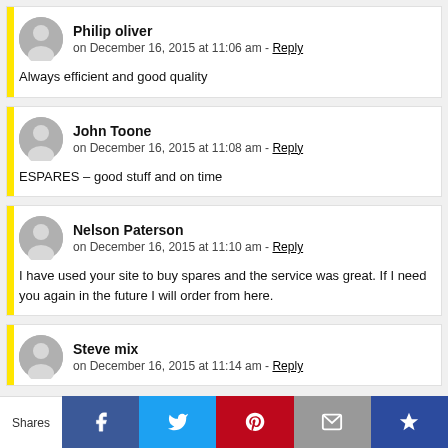Philip oliver
on December 16, 2015 at 11:06 am - Reply
Always efficient and good quality
John Toone
on December 16, 2015 at 11:08 am - Reply
ESPARES – good stuff and on time
Nelson Paterson
on December 16, 2015 at 11:10 am - Reply
I have used your site to buy spares and the service was great. If I need you again in the future I will order from here.
Steve mix
on December 16, 2015 at 11:14 am - Reply
Shares | Facebook | Twitter | Pinterest | Email | Crown